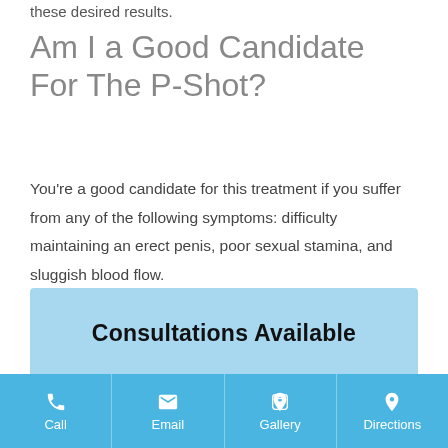these desired results.
Am I a Good Candidate For The P-Shot?
You're a good candidate for this treatment if you suffer from any of the following symptoms: difficulty maintaining an erect penis, poor sexual stamina, and sluggish blood flow.
Consultations Available
Call | Email | Gallery | Directions